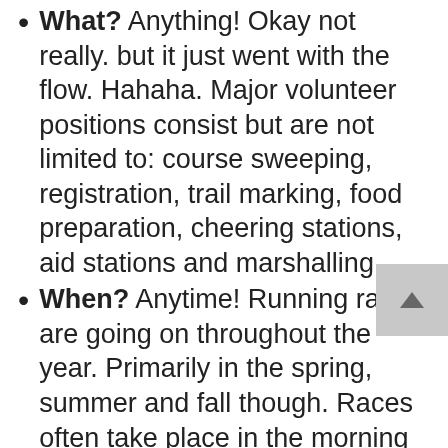What? Anything! Okay not really. but it just went with the flow. Hahaha. Major volunteer positions consist but are not limited to: course sweeping, registration, trail marking, food preparation, cheering stations, aid stations and marshalling.
When? Anytime! Running races are going on throughout the year. Primarily in the spring, summer and fall though. Races often take place in the morning so you will not need to lose your evening.. or even afternoon sometimes!
Where? Anywhere! Throughout the Lower Mainland, there is basically a race every weekend, you just need to choose one.
Why? Endless reasons! You will help the organizers host an amazing race! You will help the runners be able to run